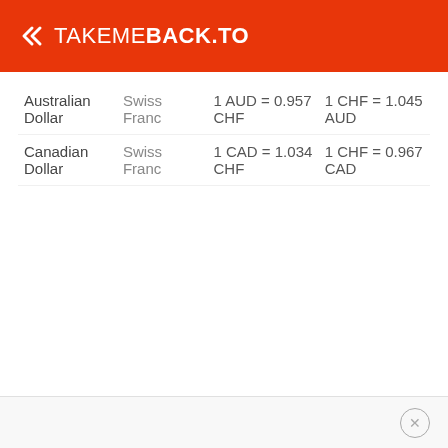TAKEMEBACK.TO
| Currency | To | Rate | Inverse Rate |
| --- | --- | --- | --- |
| Australian Dollar | Swiss Franc | 1 AUD = 0.957 CHF | 1 CHF = 1.045 AUD |
| Canadian Dollar | Swiss Franc | 1 CAD = 1.034 CHF | 1 CHF = 0.967 CAD |